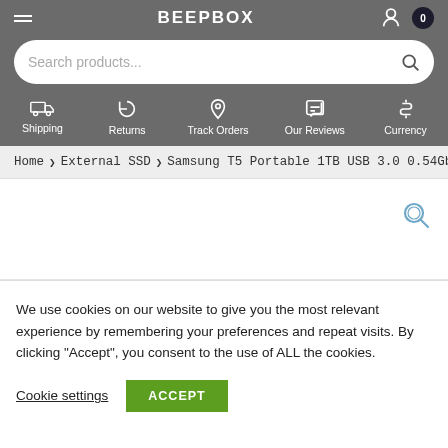BEEPBOX
[Figure (screenshot): Search bar with placeholder text 'Search products...' and a search icon on the right]
Shipping | Returns | Track Orders | Our Reviews | Currency
Home > External SSD > Samsung T5 Portable 1TB USB 3.0 0.54Gbit/s
[Figure (other): Magnifying glass zoom icon in the product image area]
We use cookies on our website to give you the most relevant experience by remembering your preferences and repeat visits. By clicking "Accept", you consent to the use of ALL the cookies.
Cookie settings  ACCEPT